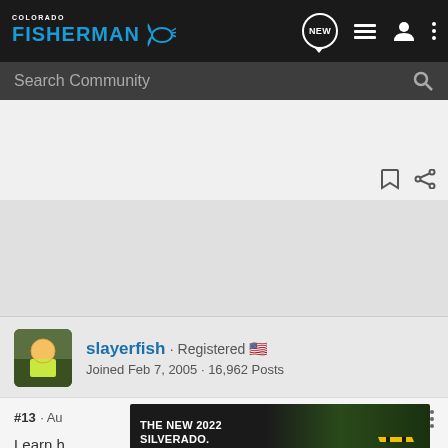Colorado Fisherman
Search Community
slayerfish · Registered 🇺🇸
Joined Feb 7, 2005 · 16,962 Posts
#13 · Au...
Learn h...
[Figure (screenshot): Advertisement banner for The New 2022 Silverado by Chevrolet with Explore button]